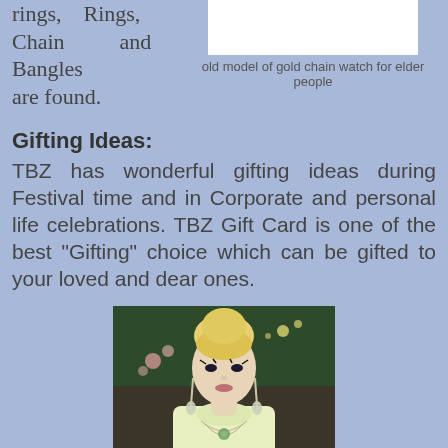rings, Rings, Chain and Bangles are found.
[Figure (photo): Old model of gold chain watch for elder people - white rectangular image placeholder]
old model of gold chain watch for elder people
Gifting Ideas:
TBZ has wonderful gifting ideas during Festival time and in Corporate and personal life celebrations. TBZ Gift Card is one of the best "Gifting" choice which can be gifted to your loved and dear ones.
[Figure (photo): A blonde woman model wearing jewelry including long drop earrings and a layered necklace with a brooch, dressed in a light yellow sleeveless top, posed in an elegant setting with flowers and chandelier in background]